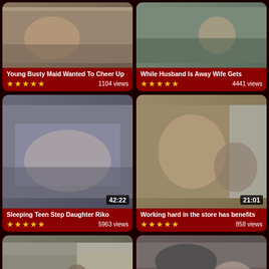[Figure (screenshot): Video thumbnail card 1: Young Busty Maid Wanted To Cheer Up, 1104 views, 5 stars]
[Figure (screenshot): Video thumbnail card 2: While Husband Is Away Wife Gets, 4441 views, 5 stars]
[Figure (screenshot): Video thumbnail card 3: Sleeping Teen Step Daughter Riko, 5963 views, 5 stars, duration 42:22]
[Figure (screenshot): Video thumbnail card 4: Working hard in the store has benefits, 858 views, 5 stars, duration 21:01]
[Figure (screenshot): Video thumbnail card 5: partial card at bottom left]
[Figure (screenshot): Video thumbnail card 6: partial card at bottom right]